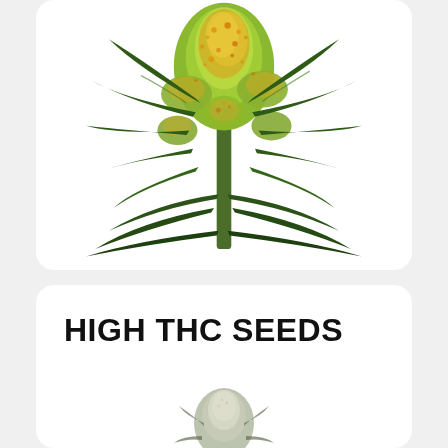[Figure (photo): Close-up photograph of a cannabis plant bud with bright green and yellow-orange trichomes, dense cola formation with serrated dark green fan leaves]
HIGH THC SEEDS
[Figure (photo): Partial view of another cannabis plant bud, appears lighter/grey-green in color, partially cropped at bottom of page]